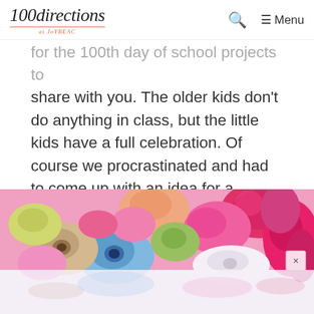100directions at JoYBEAC — Search — Menu
for the 100th day of school projects to share with you. The older kids don't do anything in class, but the little kids have a full celebration. Of course we procrastinated and had to come up with an idea for a decorated t-shirt in less than 24 hours. But, around here, spontaneous, last-minute ideas are plentiful.
[Figure (photo): Close-up photo of colorful cylindrical plastic perler/hama beads in pink, magenta, peach, blue, green, white, and yellow colors piled together]